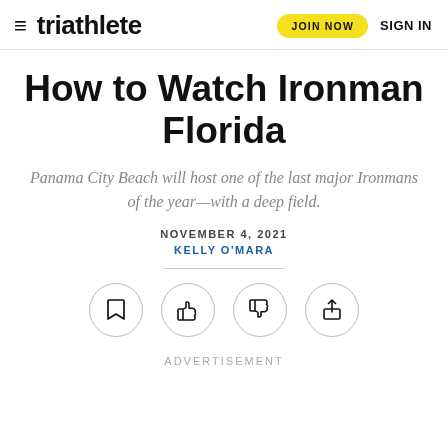triathlete | JOIN NOW | SIGN IN
How to Watch Ironman Florida
Panama City Beach will host one of the last major Ironmans of the year—with a deep field.
NOVEMBER 4, 2021
KELLY O'MARA
[Figure (infographic): Row of four circular icon buttons: bookmark, thumbs-up, thumbs-down, share]
ADVERTISEMENT